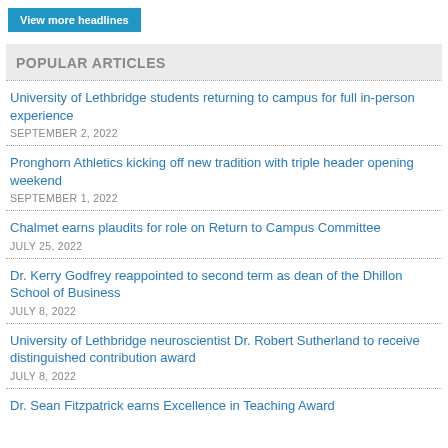View more headlines
POPULAR ARTICLES
University of Lethbridge students returning to campus for full in-person experience
SEPTEMBER 2, 2022
Pronghorn Athletics kicking off new tradition with triple header opening weekend
SEPTEMBER 1, 2022
Chalmet earns plaudits for role on Return to Campus Committee
JULY 25, 2022
Dr. Kerry Godfrey reappointed to second term as dean of the Dhillon School of Business
JULY 8, 2022
University of Lethbridge neuroscientist Dr. Robert Sutherland to receive distinguished contribution award
JULY 8, 2022
Dr. Sean Fitzpatrick earns Excellence in Teaching Award